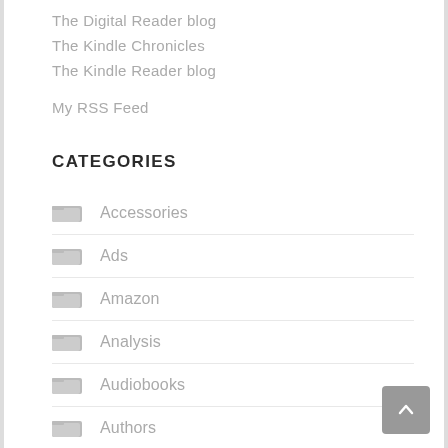The Digital Reader blog
The Kindle Chronicles
The Kindle Reader blog
My RSS Feed
CATEGORIES
Accessories
Ads
Amazon
Analysis
Audiobooks
Authors